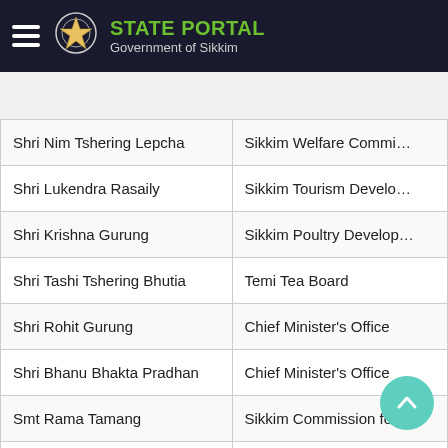STATE PORTAL Government of Sikkim
Sign In
| Name | Organization |
| --- | --- |
| Shri Nim Tshering Lepcha | Sikkim Welfare Commi… |
| Shri Lukendra Rasaily | Sikkim Tourism Develo… |
| Shri Krishna Gurung | Sikkim Poultry Develop… |
| Shri Tashi Tshering Bhutia | Temi Tea Board |
| Shri Rohit Gurung | Chief Minister's Office |
| Shri Bhanu Bhakta Pradhan | Chief Minister's Office |
| Smt Rama Tamang | Sikkim Commission for… |
| Smt Sunita Gautam | Rural Development De… |
| Shri Gyanden T. Lachungpa | Teesta Urja Ltd. Board |
| Smt Chung Kipu Lepcha | Sikkim State Commissi… |